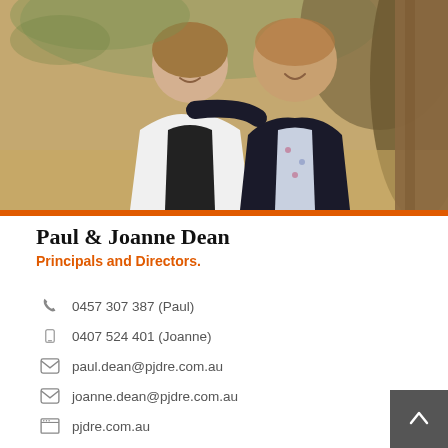[Figure (photo): Portrait photo of Paul and Joanne Dean, a couple smiling outdoors near a tree. Woman on left in white blazer, man on right in dark suit jacket with floral shirt.]
Paul & Joanne Dean
Principals and Directors.
0457 307 387 (Paul)
0407 524 401 (Joanne)
paul.dean@pjdre.com.au
joanne.dean@pjdre.com.au
pjdre.com.au